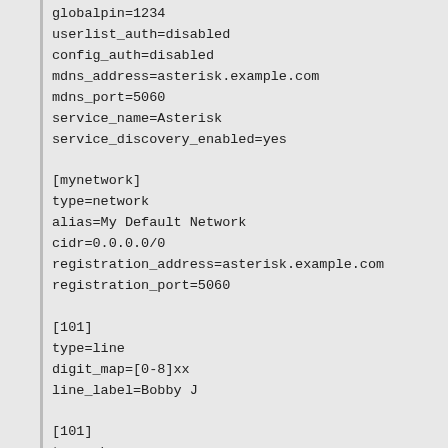globalpin=1234
userlist_auth=disabled
config_auth=disabled
mdns_address=asterisk.example.com
mdns_port=5060
service_name=Asterisk
service_discovery_enabled=yes

[mynetwork]
type=network
alias=My Default Network
cidr=0.0.0.0/0
registration_address=asterisk.example.com
registration_port=5060

[101]
type=line
digit_map=[0-8]xx
line_label=Bobby J

[101]
type=phone
line=101
network=mynetwork
full_name=Bob Jones